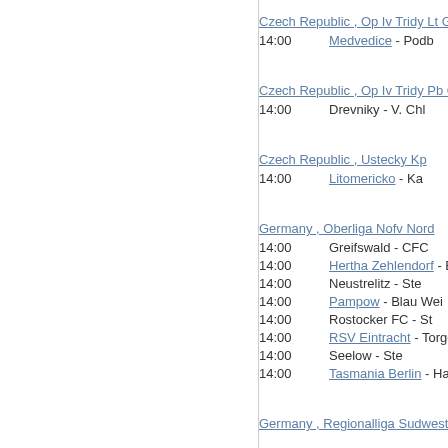Czech Republic , Op Iv Tridy Lt Gro
14:00   Medvedice - Podb
Czech Republic , Op Iv Tridy Pb Gro
14:00   Drevniky - V. Chl
Czech Republic , Ustecky Kp
14:00   Litomericko - Ka
Germany , Oberliga Nofv Nord
14:00   Greifswald - CFC
14:00   Hertha Zehlendorf - Bra
14:00   Neustrelitz - Ste
14:00   Pampow - Blau Wei
14:00   Rostocker FC - St
14:00   RSV Eintracht - Torgel
14:00   Seelow - Ste
14:00   Tasmania Berlin - Hans
Germany , Regionalliga Sudwest